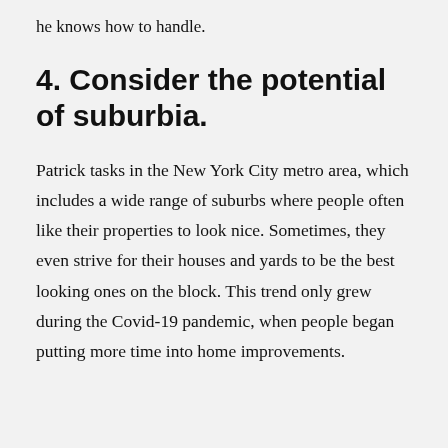he knows how to handle.
4. Consider the potential of suburbia.
Patrick tasks in the New York City metro area, which includes a wide range of suburbs where people often like their properties to look nice. Sometimes, they even strive for their houses and yards to be the best looking ones on the block. This trend only grew during the Covid-19 pandemic, when people began putting more time into home improvements.